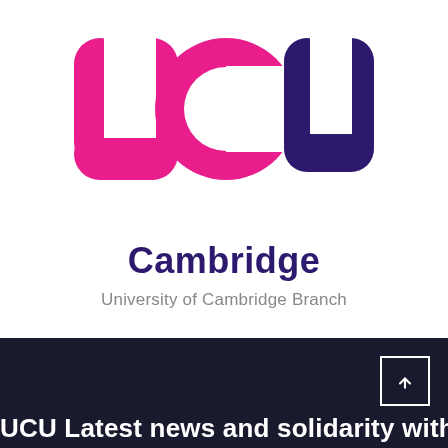[Figure (logo): UCU Cambridge logo with large pink and purple 'ucu' letters and 'Cambridge' text below]
University of Cambridge Branch
[Figure (screenshot): Search bar with pink icon buttons for search, Facebook, Twitter, and email]
[Figure (other): Dark footer area with scroll-to-top button and partially visible white text at bottom]